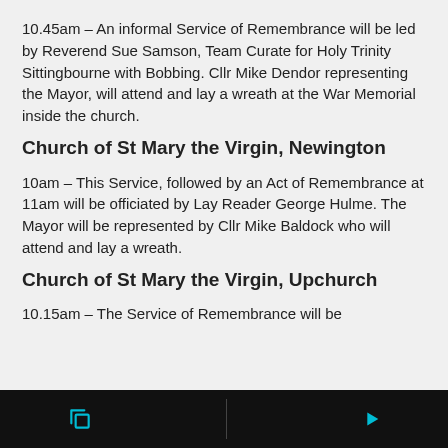10.45am – An informal Service of Remembrance will be led by Reverend Sue Samson, Team Curate for Holy Trinity Sittingbourne with Bobbing. Cllr Mike Dendor representing the Mayor, will attend and lay a wreath at the War Memorial inside the church.
Church of St Mary the Virgin, Newington
10am – This Service, followed by an Act of Remembrance at 11am will be officiated by Lay Reader George Hulme. The Mayor will be represented by Cllr Mike Baldock who will attend and lay a wreath.
Church of St Mary the Virgin, Upchurch
10.15am – The Service of Remembrance will be